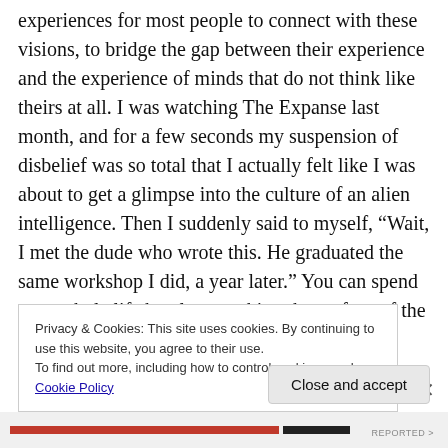experiences for most people to connect with these visions, to bridge the gap between their experience and the experience of minds that do not think like theirs at all. I was watching The Expanse last month, and for a few seconds my suspension of disbelief was so total that I actually felt like I was about to get a glimpse into the culture of an alien intelligence. Then I suddenly said to myself, “Wait, I met the dude who wrote this. He graduated the same workshop I did, a year later.” You can spend your whole life barely scratching the surface of the technologies and human dramas that unfolded during
Privacy & Cookies: This site uses cookies. By continuing to use this website, you agree to their use.
To find out more, including how to control cookies, see here: Cookie Policy
Close and accept